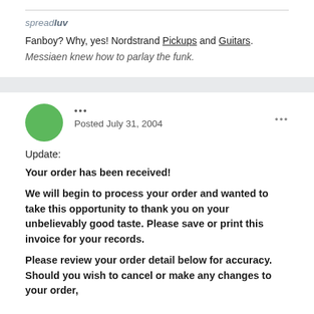spreadluv
Fanboy? Why, yes! Nordstrand Pickups and Guitars.
Messiaen knew how to parlay the funk.
... Posted July 31, 2004
Update:
Your order has been received!
We will begin to process your order and wanted to take this opportunity to thank you on your unbelievably good taste. Please save or print this invoice for your records.

Please review your order detail below for accuracy. Should you wish to cancel or make any changes to your order,